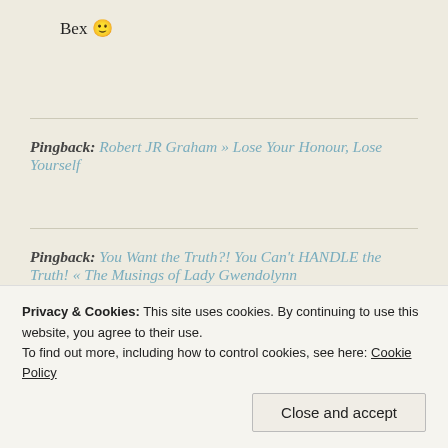Bex 🙂
Pingback: Robert JR Graham » Lose Your Honour, Lose Yourself
Pingback: You Want the Truth?! You Can't HANDLE the Truth! « The Musings of Lady Gwendolynn
Lady Gwendolynn
January 22, 2013 at 11:20 am | Reply
Privacy & Cookies: This site uses cookies. By continuing to use this website, you agree to their use.
To find out more, including how to control cookies, see here: Cookie Policy
Close and accept
well hurt me too at times.